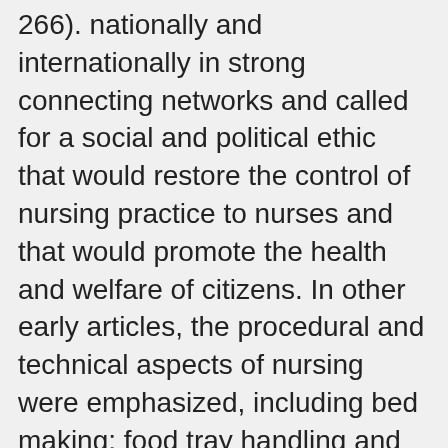266). nationally and internationally in strong connecting networks and called for a social and political ethic that would restore the control of nursing practice to nurses and that would promote the health and welfare of citizens. In other early articles, the procedural and technical aspects of nursing were emphasized, including bed making; food tray handling and feeding; carrying out personal hygienic measures, such as bed baths and oral hygiene; and managing delegated medical procedures, such as drains, catheterizations, enemas, alcohol baths, vital signs, and medication administration (Brigh, 1944; Mountin, 1943). It was nurses who were there to provide nurturing and assistive services that were consistent with the view that disease was linked to natural causes. Knowledge Development in Nursing Essay